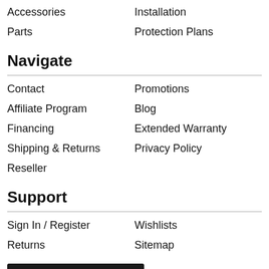Accessories
Installation
Parts
Protection Plans
Navigate
Contact
Promotions
Affiliate Program
Blog
Financing
Extended Warranty
Shipping & Returns
Privacy Policy
Reseller
Support
Sign In / Register
Wishlists
Returns
Sitemap
[Figure (other): Try our new Product Selector button — black button with selector icon, text 'TRY OUR NEW' and 'PRODUCT SELECTOR']
About Eccotemp.com